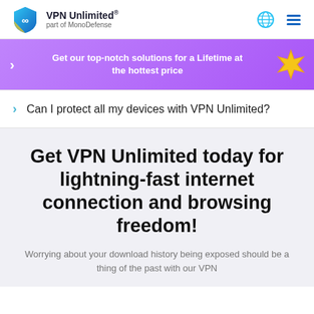VPN Unlimited® part of MonoDefense
[Figure (screenshot): VPN Unlimited logo shield with teal and blue colors]
Get our top-notch solutions for a Lifetime at the hottest price
Can I protect all my devices with VPN Unlimited?
Get VPN Unlimited today for lightning-fast internet connection and browsing freedom!
Worrying about your download history being exposed should be a thing of the past with our VPN